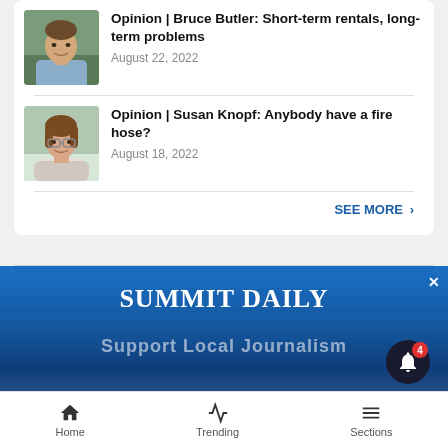[Figure (photo): Headshot of Bruce Butler, a man in a light blue shirt with greenery background]
Opinion | Bruce Butler: Short-term rentals, long-term problems
August 22, 2022
[Figure (photo): Headshot of Susan Knopf, a woman with glasses and light scarf, outdoor background]
Opinion | Susan Knopf: Anybody have a fire hose?
August 18, 2022
SEE MORE ›
[Figure (screenshot): Summit Daily newspaper advertisement banner with logo and 'Support Local Journalism' text]
Home   Trending   Sections